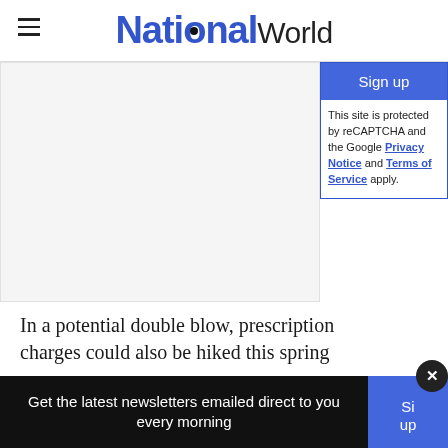NationalWorld
[Figure (other): White/light gray rectangular image placeholder area]
Sign up
This site is protected by reCAPTCHA and the Google Privacy Notice and Terms of Service apply.
In a potential double blow, prescription charges could also be hiked this spring
Get the latest newsletters emailed direct to you every morning